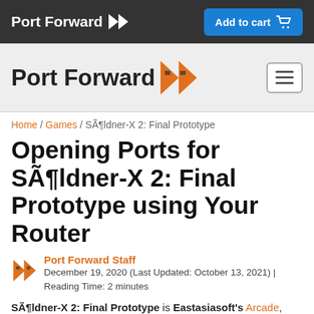Port Forward   Add to cart
[Figure (logo): Port Forward logo with orange chevron icon and hamburger menu button on grey bar]
Home / Games / SÃ¶ldner-X 2: Final Prototype
Opening Ports for SÃ¶ldner-X 2: Final Prototype using Your Router
Port Forward Staff
December 19, 2020 (Last Updated: October 13, 2021) | Reading Time: 2 minutes
SÃ¶ldner-X 2: Final Prototype is Eastasiasoft's Arcade, Action, and Shoot-Em-Up game with a release date in 2019.